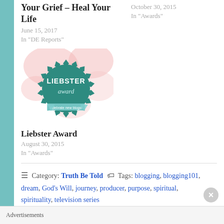Your Grief – Heal Your Life
June 15, 2017
In "DE Reports"
October 30, 2015
In "Awards"
[Figure (illustration): Liebster Award badge with teal star-burst medal and pink floral background]
Liebster Award
August 30, 2015
In "Awards"
Category: Truth Be Told   Tags: blogging, blogging101, dream, God's Will, journey, producer, purpose, spiritual, spirituality, television series
Advertisements